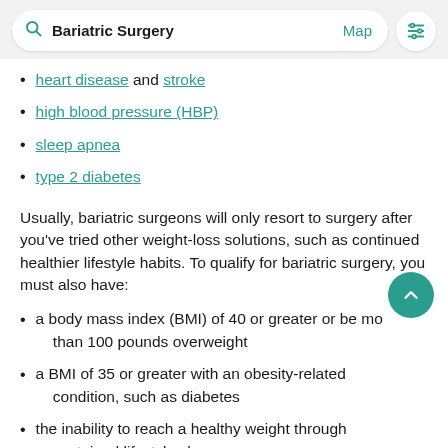Bariatric Surgery | Map | [filter icon]
heart disease and stroke
high blood pressure (HBP)
sleep apnea
type 2 diabetes
Usually, bariatric surgeons will only resort to surgery after you've tried other weight-loss solutions, such as continued healthier lifestyle habits. To qualify for bariatric surgery, you must also have:
a body mass index (BMI) of 40 or greater or be more than 100 pounds overweight
a BMI of 35 or greater with an obesity-related condition, such as diabetes
the inability to reach a healthy weight through sustained lifestyle changes